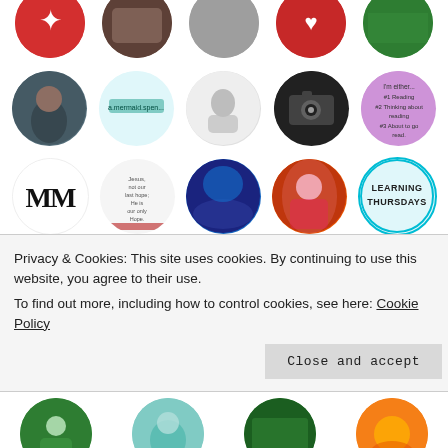[Figure (photo): Grid of circular user avatar photos and icons from a blog/social media website, arranged in 5 rows of 5 circles each. Row 1 (partial, top): red star/flower icon, brown animal photo, grey circle, red heart photo, green nature photo. Row 2: woman in forest photo, teal 'a.mermaid.spen...' avatar, pencil sketch portrait, DSLR camera photo, purple 'I'm either... #1 Reading #2 Thinking about reading #3 About to go read' text avatar. Row 3: 'MM' bold text logo, quote/religious text circle, dark blue wave/rain landscape, orange man portrait, teal 'LEARNING THURSDAYS' circle. Row 4: older man smiling portrait, dark elephant/pillar artwork, golden wheat field photo, pink tulip outline icon on pink heart, purple woman playing sitar painting. Row 5 (partial): brown animal, red/white Libra symbol, red woman portrait, dark blue hand/book photo, yellow flowers photo.]
Privacy & Cookies: This site uses cookies. By continuing to use this website, you agree to their use.
To find out more, including how to control cookies, see here: Cookie Policy
Close and accept